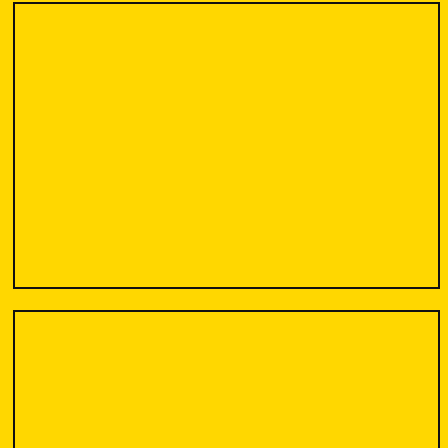[Figure (other): Image placeholder box, upper left, yellow background with black border]
The RAF put the Harriers to rest back in 2010, now they have sold them to the US.
Tom... RA... pho... reu...
See Page 12
See...
[Figure (other): Image placeholder box, lower left, yellow background with black border]
The Djinnang Association had their annual reunion in Brisbane and 3 Sqn got together at the Cleveland RSL.
9 S... hon... alon...
See Page 14
See...